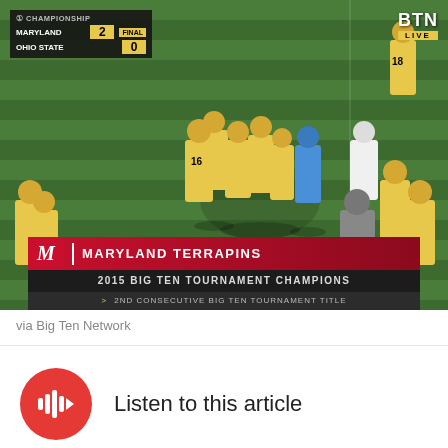[Figure (screenshot): TV broadcast screenshot of a soccer match showing Maryland Terrapins players celebrating on a green field. Scoreboard in top-left shows: B1G Championship, Maryland 2, Ohio State 0, FINAL. BTN LIVE logo in top-right. Bottom chyrons read: MARYLAND TERRAPINS / 2015 BIG TEN TOURNAMENT CHAMPIONS / > 2ND CONSECUTIVE BIG TEN TOURNAMENT TITLE]
via Big Ten Network
Listen to this article